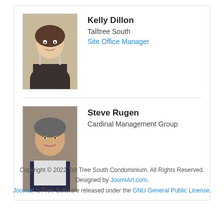[Figure (photo): Photo of Kelly Dillon, a woman with brown hair, wearing a striped shirt, smiling]
Kelly Dillon
Talltree South
Site Office Manager
[Figure (photo): Photo of Steve Rugen, a middle-aged man wearing glasses and a dark blazer, smiling]
Steve Rugen
Cardinal Management Group
Copyright © 2022 Tall Tree South Condominium. All Rights Reserved. Designed by JoomlArt.com. Joomla! is Free Software released under the GNU General Public License.